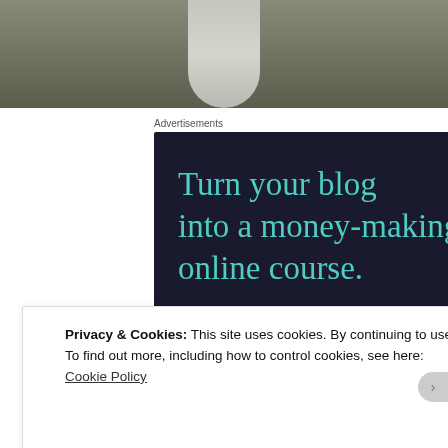[Figure (photo): Bottom portion of a photo showing what appears to be socks or feet on a textured background]
Advertisements
[Figure (infographic): Dark navy advertisement banner reading 'Turn your blog into a money-making online course.' with a teal 'Learn More' button]
Privacy & Cookies: This site uses cookies. By continuing to use this website, you agree to their use.
To find out more, including how to control cookies, see here:
Cookie Policy
Close and accept